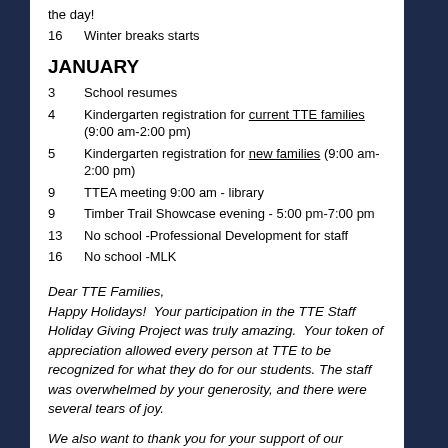the day!
16    Winter breaks starts
JANUARY
3    School resumes
4    Kindergarten registration for current TTE families (9:00 am-2:00 pm)
5    Kindergarten registration for new families (9:00 am-2:00 pm)
9    TTEA meeting 9:00 am - library
9    Timber Trail Showcase evening - 5:00 pm-7:00 pm
13   No school -Professional Development for staff
16   No school -MLK
Dear TTE Families,
Happy Holidays!  Your participation in the TTE Staff Holiday Giving Project was truly amazing.  Your token of appreciation allowed every person at TTE to be recognized for what they do for our students. The staff was overwhelmed by your generosity, and there were several tears of joy.
We also want to thank you for your support of our philanthropic activities the past few weeks.  Please see